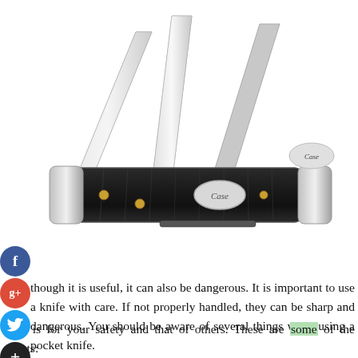[Figure (photo): A Case brand folding pocket knife with black bone handle and three blades open, showing silver blades and gold pins, with Case logo on handle shield and bolsters.]
though it is useful, it can also be dangerous. It is important to use a knife with care. If not properly handled, they can be sharp and dangerous. You should be aware of several things when using a pocket knife.
This is for your safety and that of others. These are some of the points: